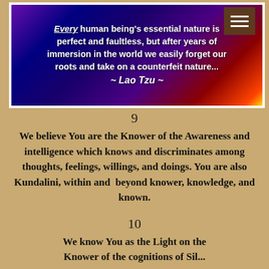[Figure (illustration): Colorful mystical image with dark purple, blue, and orange cosmic background with a quote by Lao Tzu in bold white text: 'Every human being's essential nature is perfect and faultless, but after years of immersion in the world we easily forget our roots and take on a counterfeit nature... ~ Lao Tzu ~']
9
We believe You are the Knower of the Awareness and intelligence which knows and discriminates among thoughts, feelings, willings, and doings. You are also Kundalini, within and beyond knower, knowledge, and known.
10
We know You as the Light on the Knower of the cognitions of Sil...